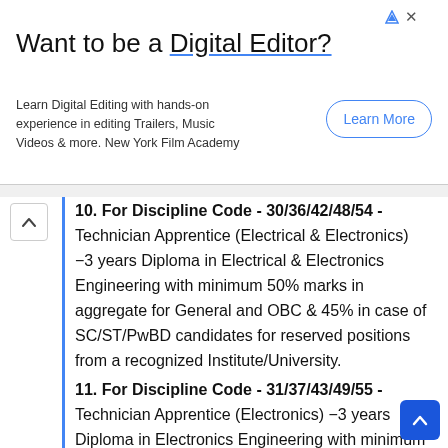[Figure (other): Advertisement banner: 'Want to be a Digital Editor?' with Learn More button. New York Film Academy ad.]
10. For Discipline Code - 30/36/42/48/54 -
Technician Apprentice (Electrical & Electronics) −3 years Diploma in Electrical & Electronics Engineering with minimum 50% marks in aggregate for General and OBC & 45% in case of SC/ST/PwBD candidates for reserved positions from a recognized Institute/University.
11. For Discipline Code - 31/37/43/49/55 -
Technician Apprentice (Electronics) −3 years Diploma in Electronics Engineering with minimum 50% marks in aggregate for General and OBC & 45% in case of SC/ST/PwBD candidates for reserved positions from a